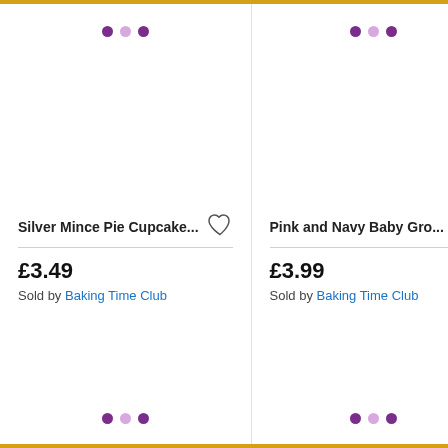[Figure (other): Product listing card for Silver Mince Pie Cupcake with pagination dots at top and bottom, price £3.49, sold by Baking Time Club]
[Figure (other): Product listing card for Pink and Navy Baby Gro with pagination dots at top and bottom, price £3.99, sold by Baking Time Club]